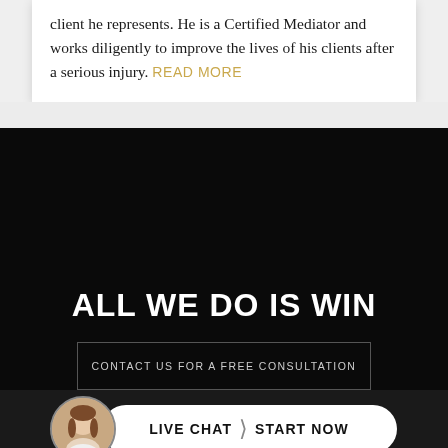client he represents. He is a Certified Mediator and works diligently to improve the lives of his clients after a serious injury. READ MORE
ALL WE DO IS WIN
CONTACT US FOR A FREE CONSULTATION
LIVE CHAT | START NOW